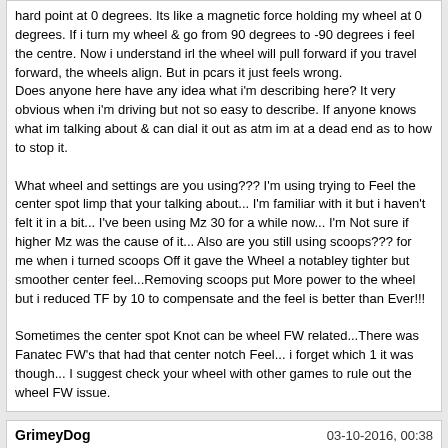hard point at 0 degrees. Its like a magnetic force holding my wheel at 0 degrees. If i turn my wheel & go from 90 degrees to -90 degrees i feel the centre. Now i understand irl the wheel will pull forward if you travel forward, the wheels align. But in pcars it just feels wrong.
Does anyone here have any idea what i'm describing here? It very obvious when i'm driving but not so easy to describe. If anyone knows what im talking about & can dial it out as atm im at a dead end as to how to stop it.

What wheel and settings are you using??? I'm using trying to Feel the center spot limp that your talking about... I'm familiar with it but i haven't felt it in a bit... I've been using Mz 30 for a while now... I'm Not sure if higher Mz was the cause of it... Also are you still using scoops??? for me when i turned scoops Off it gave the Wheel a notabley tighter but smoother center feel...Removing scoops put More power to the wheel but i reduced TF by 10 to compensate and the feel is better than Ever!!!

Sometimes the center spot Knot can be wheel FW related...There was Fanatec FW's that had that center notch Feel... i forget which 1 it was though... I suggest check your wheel with other games to rule out the wheel FW issue.
GrimeyDog
morpwr